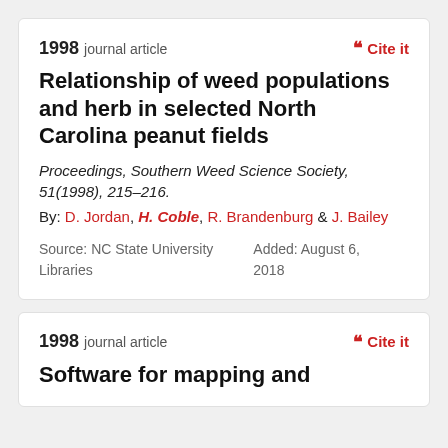1998 journal article
Cite it
Relationship of weed populations and herb in selected North Carolina peanut fields
Proceedings, Southern Weed Science Society, 51(1998), 215–216.
By: D. Jordan, H. Coble, R. Brandenburg & J. Bailey
Source: NC State University Libraries
Added: August 6, 2018
1998 journal article
Cite it
Software for mapping and